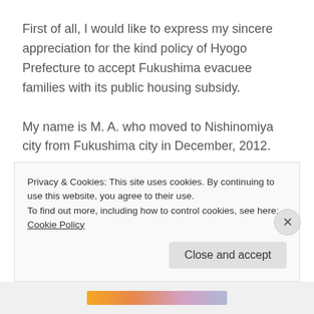First of all, I would like to express my sincere appreciation for the kind policy of Hyogo Prefecture to accept Fukushima evacuee families with its public housing subsidy.
My name is M. A. who moved to Nishinomiya city from Fukushima city in December, 2012.
The reason I am writing this letter to you is that I would like to make a petition for the many victims
Privacy & Cookies: This site uses cookies. By continuing to use this website, you agree to their use.
To find out more, including how to control cookies, see here: Cookie Policy